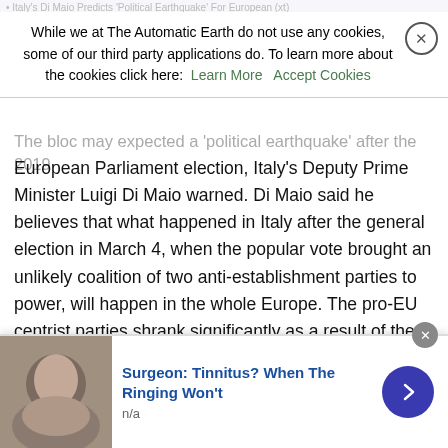Italy's Di Maio Predicts 'Political Earthquake' For European (xt) ...
While we at The Automatic Earth do not use any cookies, some of our third party applications do. To learn more about the cookies click here: Learn More  Accept Cookies
The bloc may expect a 'political earthquake' after the 2019 European Parliament election, Italy's Deputy Prime Minister Luigi Di Maio warned. Di Maio said he believes that what happened in Italy after the general election in March 4, when the popular vote brought an unlikely coalition of two anti-establishment parties to power, will happen in the whole Europe. The pro-EU centrist parties shrank significantly as a result of the latest Italian parliamentary elections. With the plebiscite that is scheduled for May next year “there will be a political earthquake at the European level,” Di Maio, who is also the Minister of Economic Development and the head of the Five Star Movement (M5S), stated. “All the rules will change,” the Italian high-ranking politician promised.
The Italian government and the EU authorities are at loggerheads over Rome’s targeted budget deficit at 2.4 percent of the GDP that
Surgeon: Tinnitus? When The Ringing Won't
n/a